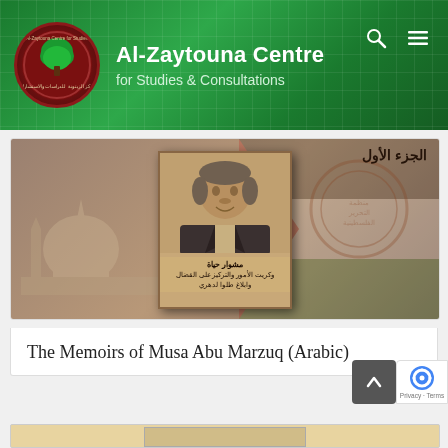Al-Zaytouna Centre for Studies & Consultations
[Figure (photo): Book cover image for 'The Memoirs of Musa Abu Marzuq' in Arabic, showing a sepia-toned photograph of a man in a suit, with Arabic text overlay. Background shows the Dome of the Rock and a Palestinian flag motif. Right side shows Arabic text الجزء الأول (Part One).]
The Memoirs of Musa Abu Marzuq (Arabic)